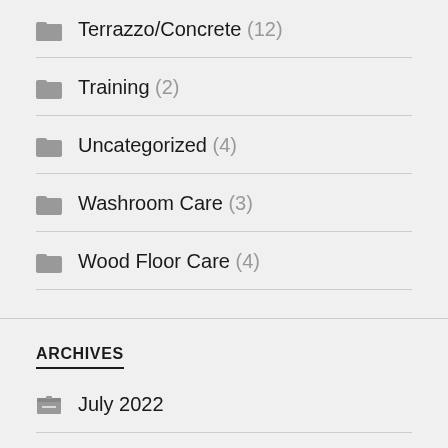Terrazzo/Concrete (12)
Training (2)
Uncategorized (4)
Washroom Care (3)
Wood Floor Care (4)
ARCHIVES
July 2022
June 2022